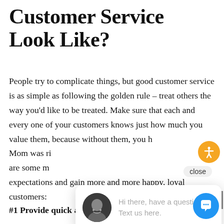Customer Service Look Like?
People try to complicate things, but good customer service is as simple as following the golden rule – treat others the way you'd like to be treated. Make sure that each and every one of your customers knows just how much you value them, because without them, you h[ave nothing.] Mom was ri[ght. Here] are some m[ore ways to exceed] expectations and gain more and more happy, loyal customers:
#1 Provide quick and helpful service